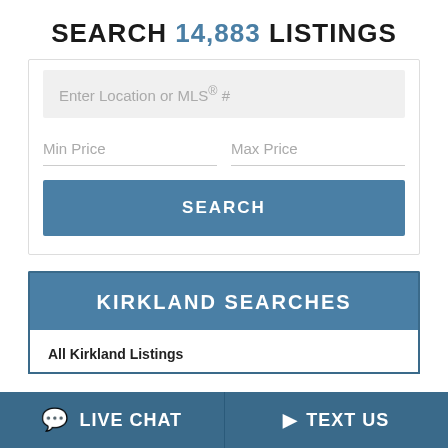SEARCH 14,883 LISTINGS
[Figure (screenshot): Search form with location/MLS input, min/max price fields, and a SEARCH button]
KIRKLAND SEARCHES
All Kirkland Listings
LIVE CHAT   TEXT US